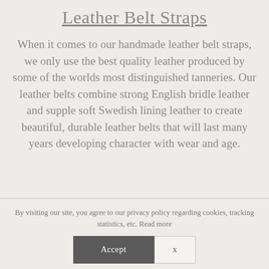Leather Belt Straps
When it comes to our handmade leather belt straps, we only use the best quality leather produced by some of the worlds most distinguished tanneries. Our leather belts combine strong English bridle leather and supple soft Swedish lining leather to create beautiful, durable leather belts that will last many years developing character with wear and age.
By visiting our site, you agree to our privacy policy regarding cookies, tracking statistics, etc. Read more